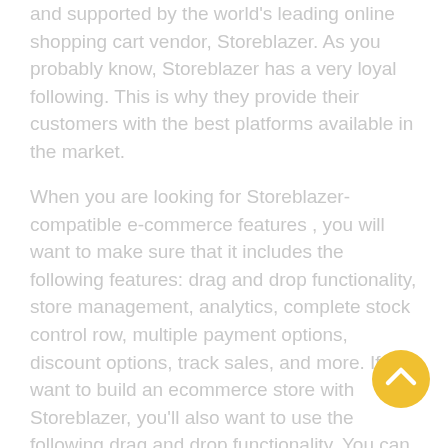and supported by the world's leading online shopping cart vendor, Storeblazer. As you probably know, Storeblazer has a very loyal following. This is why they provide their customers with the best platforms available in the market.
When you are looking for Storeblazer- compatible e-commerce features , you will want to make sure that it includes the following features: drag and drop functionality, store management, analytics, complete stock control row, multiple payment options, discount options, track sales, and more. If you want to build an ecommerce store with Storeblazer, you'll also want to use the following drag and drop functionality. You can drag items from one page to another. As you drag items onto the page, you'll see a drop-down menu where you can specify the i you're dragging.
If you want an extremely easy-to-use cart that